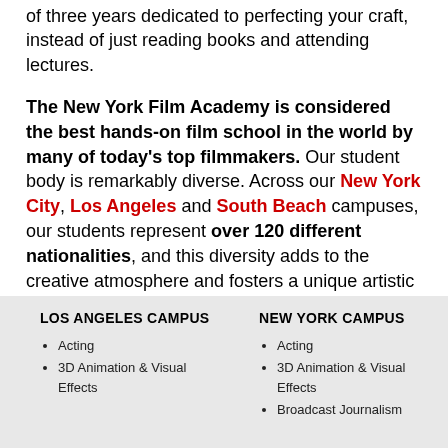of three years dedicated to perfecting your craft, instead of just reading books and attending lectures.
The New York Film Academy is considered the best hands-on film school in the world by many of today's top filmmakers. Our student body is remarkably diverse. Across our New York City, Los Angeles and South Beach campuses, our students represent over 120 different nationalities, and this diversity adds to the creative atmosphere and fosters a unique artistic community.
LOS ANGELES CAMPUS
Acting
3D Animation & Visual Effects
NEW YORK CAMPUS
Acting
3D Animation & Visual Effects
Broadcast Journalism